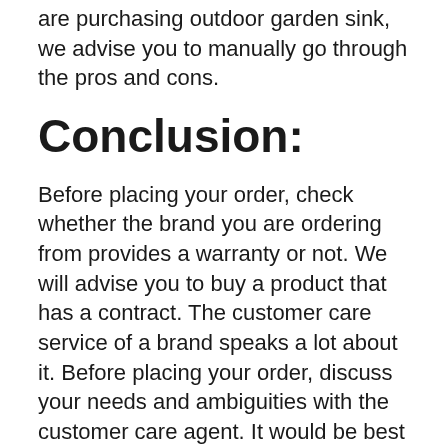are purchasing outdoor garden sink, we advise you to manually go through the pros and cons.
Conclusion:
Before placing your order, check whether the brand you are ordering from provides a warranty or not. We will advise you to buy a product that has a contract. The customer care service of a brand speaks a lot about it. Before placing your order, discuss your needs and ambiguities with the customer care agent. It would be best if you had a clear mind with no confusion.
After this reading, we hope you understand